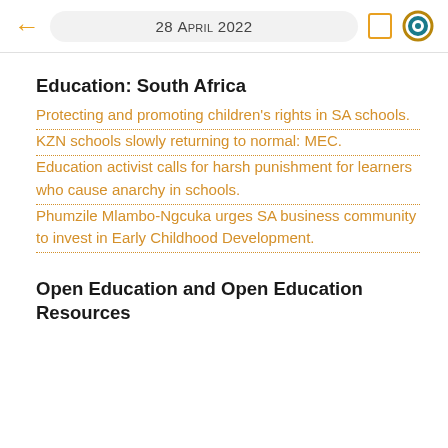28 April 2022
Education: South Africa
Protecting and promoting children's rights in SA schools.
KZN schools slowly returning to normal: MEC.
Education activist calls for harsh punishment for learners who cause anarchy in schools.
Phumzile Mlambo-Ngcuka urges SA business community to invest in Early Childhood Development.
Open Education and Open Education Resources